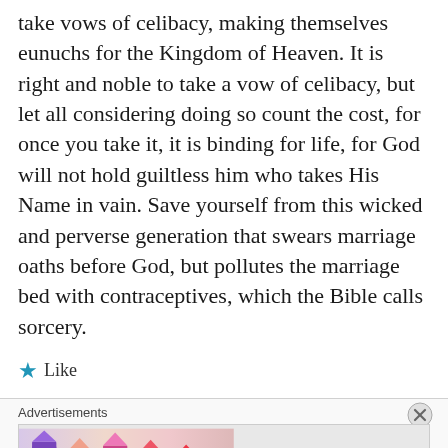take vows of celibacy, making themselves eunuchs for the Kingdom of Heaven. It is right and noble to take a vow of celibacy, but let all considering doing so count the cost, for once you take it, it is binding for life, for God will not hold guiltless him who takes His Name in vain. Save yourself from this wicked and perverse generation that swears marriage oaths before God, but pollutes the marriage bed with contraceptives, which the Bible calls sorcery.
★ Like
Advertisements
[Figure (illustration): MAC Cosmetics advertisement showing colorful lipsticks on the left, MAC logo in the center, and a SHOP NOW button on the right.]